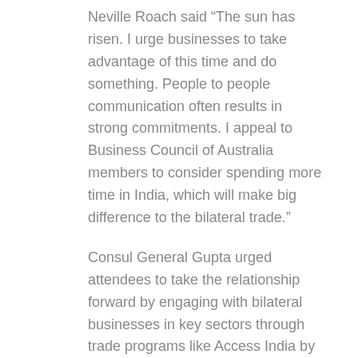Neville Roach said “The sun has risen. I urge businesses to take advantage of this time and do something. People to people communication often results in strong commitments. I appeal to Business Council of Australia members to consider spending more time in India, which will make big difference to the bilateral trade.”
Consul General Gupta urged attendees to take the relationship forward by engaging with bilateral businesses in key sectors through trade programs like Access India by NSW Government.
AIBC National Vice Chair, Sanushka Seomangal said: ‘The panel discussions were very engaging. There is so much traction now. AIBC will lead and facilitate bilateral engagements.
In conclusion Sheba Nandkeolyar believed the time is ripe and the time is now. She put on record the